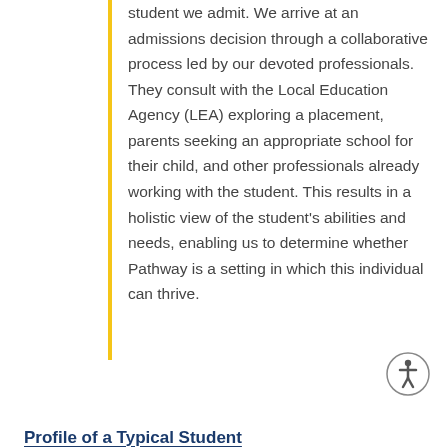student we admit. We arrive at an admissions decision through a collaborative process led by our devoted professionals. They consult with the Local Education Agency (LEA) exploring a placement, parents seeking an appropriate school for their child, and other professionals already working with the student. This results in a holistic view of the student's abilities and needs, enabling us to determine whether Pathway is a setting in which this individual can thrive.
Profile of a Typical Student